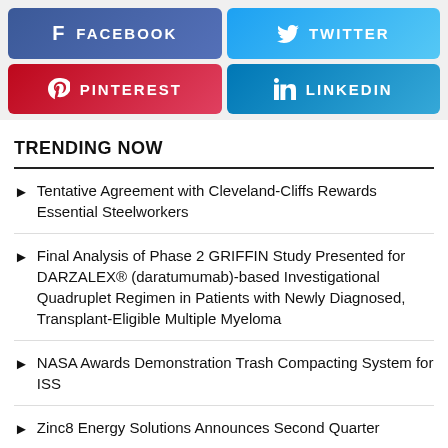[Figure (infographic): Four social media share buttons in a 2x2 grid: Facebook (purple-blue), Twitter (light blue), Pinterest (red), LinkedIn (light blue)]
TRENDING NOW
Tentative Agreement with Cleveland-Cliffs Rewards Essential Steelworkers
Final Analysis of Phase 2 GRIFFIN Study Presented for DARZALEX® (daratumumab)-based Investigational Quadruplet Regimen in Patients with Newly Diagnosed, Transplant-Eligible Multiple Myeloma
NASA Awards Demonstration Trash Compacting System for ISS
Zinc8 Energy Solutions Announces Second Quarter